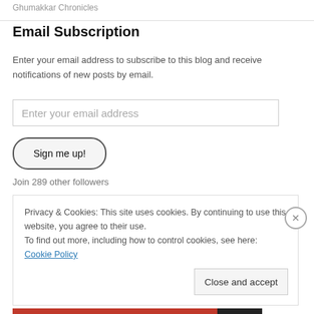Ghumakkar Chronicles
Email Subscription
Enter your email address to subscribe to this blog and receive notifications of new posts by email.
Enter your email address
Sign me up!
Join 289 other followers
Privacy & Cookies: This site uses cookies. By continuing to use this website, you agree to their use.
To find out more, including how to control cookies, see here: Cookie Policy
Close and accept